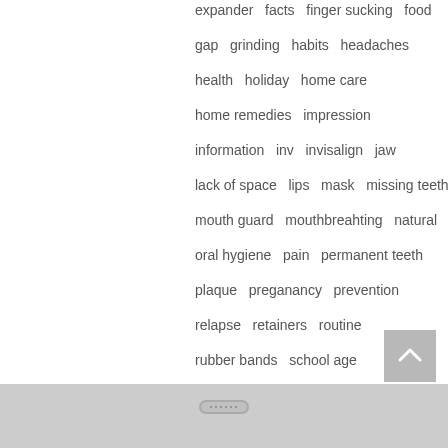expander   facts   finger sucking   food
gap   grinding   habits   headaches
health   holiday   home care
home remedies   impression
information   inv   invisalign   jaw
lack of space   lips   mask   missing teeth
mouth guard   mouthbreahting   natural
oral hygiene   pain   permanent teeth
plaque   preganancy   prevention
relapse   retainers   routine
rubber bands   school age
self-confidence   sleep apnea   smile
soprts injury   stopping habits
straight teeth